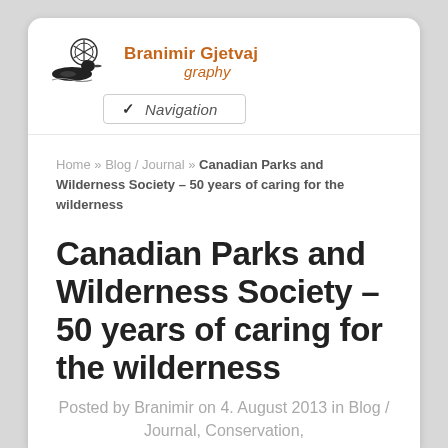[Figure (logo): Branimir Gjetvaj Photography logo with loon bird silhouette and camera shutter icon]
Branimir Gjetvaj Photography – Navigation
Home » Blog / Journal » Canadian Parks and Wilderness Society – 50 years of caring for the wilderness
Canadian Parks and Wilderness Society – 50 years of caring for the wilderness
Posted by Branimir on 4. August 2013 in Blog / Journal, Conservation,